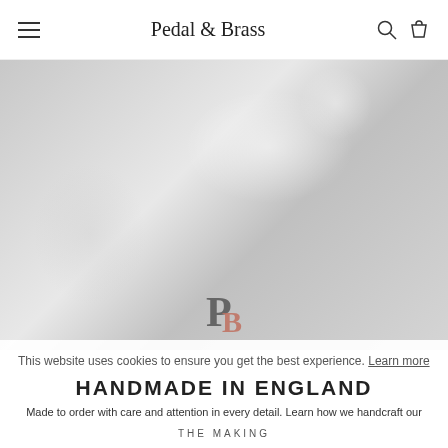Pedal & Brass
[Figure (photo): Overhead photo of jewellery making tools and pearls on a workbench, shown in muted grey tones]
This website uses cookies to ensure you get the best experience. Learn more
HANDMADE IN ENGLAND
Made to order with care and attention in every detail. Learn how we handcraft our bags.
Preferences
Ok
THE MAKING